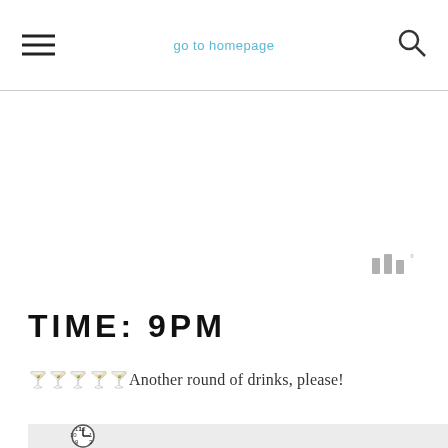go to homepage
[Figure (screenshot): Weather widget showing bar graph icon in gray, temperature indicator]
TIME: 9PM
🍹🍸🥂🍾🥃Another round of drinks, please!
[Figure (photo): A clock showing 9 o'clock and a woman with colorful hair accessories raising her arm]